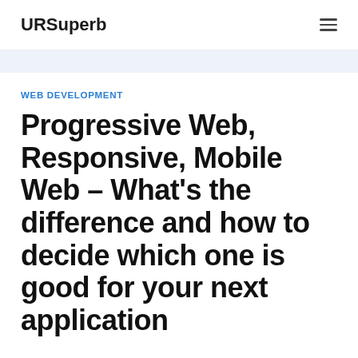URSuperb
WEB DEVELOPMENT
Progressive Web, Responsive, Mobile Web – What's the difference and how to decide which one is good for your next application